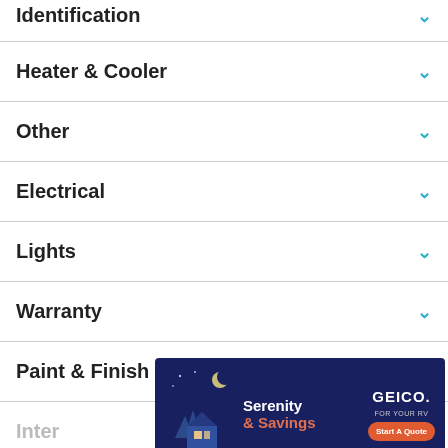Identification
Heater & Cooler
Other
Electrical
Lights
Warranty
Paint & Finish
Inter
[Figure (advertisement): GEICO RV insurance advertisement with night scene of house/RV, text 'Serenity & Savings', 'GEICO FOR YOUR RV', and 'Start A Quote' button]